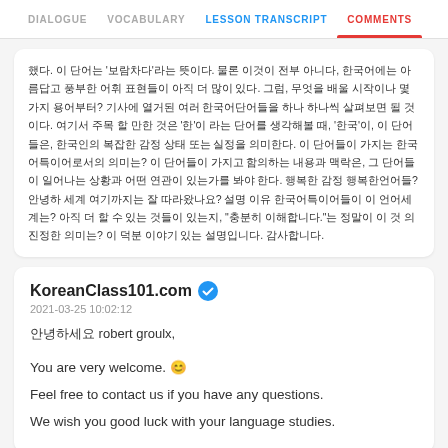DIALOGUE  VOCABULARY  LESSON TRANSCRIPT  COMMENTS
Korean lesson transcript text (Korean characters)
KoreanClass101.com
2021-03-25 10:02:12
안녕하세요 robert groulx,

You are very welcome. 😊
Feel free to contact us if you have any questions.
We wish you good luck with your language studies.